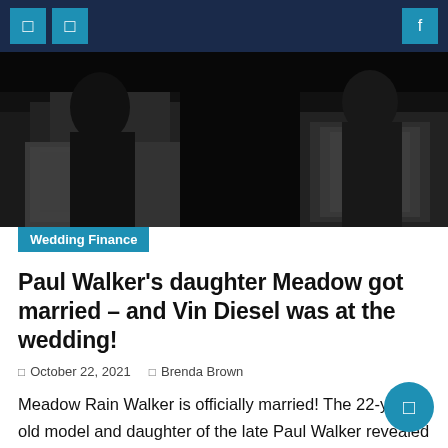Navigation bar with icons
[Figure (photo): Black and white photograph showing people in formal dark suits, likely at a wedding, in a dark setting]
Wedding Finance
Paul Walker's daughter Meadow got married – and Vin Diesel was at the wedding!
October 22, 2021   Brenda Brown
Meadow Rain Walker is officially married! The 22-year-old model and daughter of the late Paul Walker revealed on Friday that she and boyfriend Louis Thornton-Allan tied the knot in an intimate wedding ceremony on the beach. In a one-minute video posted to Instagram, Meadow is seen in her dress hugging loved ones and chatting with [...]